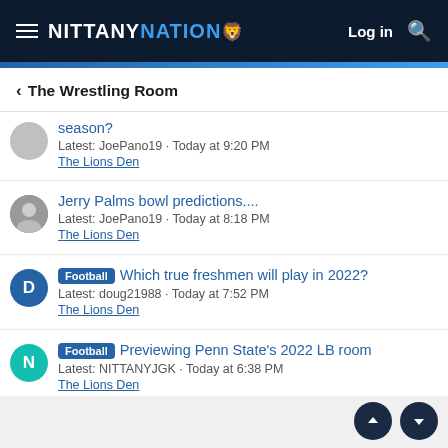NITTANY NATION — Log in
< The Wrestling Room
season? Latest: JoePano19 · Today at 9:20 PM The Lions Den
Jerry Palms bowl predictions.... Latest: JoePano19 · Today at 8:18 PM The Lions Den
[Football] Which true freshmen will play in 2022? Latest: doug21988 · Today at 7:52 PM The Lions Den
[Football] Previewing Penn State's 2022 LB room Latest: NITTANYJGK · Today at 6:38 PM The Lions Den